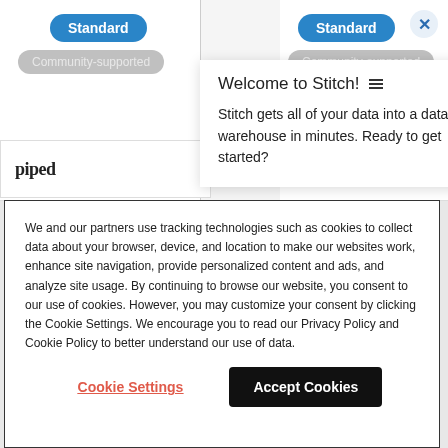[Figure (screenshot): UI screenshot showing two 'Standard' blue pill buttons and two 'Community-supported' grey pill buttons in background columns, with a 'piped' logo card partially visible, and an 'X' close button in top right corner]
Welcome to Stitch!
Stitch gets all of your data into a data warehouse in minutes. Ready to get started?
We and our partners use tracking technologies such as cookies to collect data about your browser, device, and location to make our websites work, enhance site navigation, provide personalized content and ads, and analyze site usage. By continuing to browse our website, you consent to our use of cookies. However, you may customize your consent by clicking the Cookie Settings. We encourage you to read our Privacy Policy and Cookie Policy to better understand our use of data.
Cookie Settings
Accept Cookies